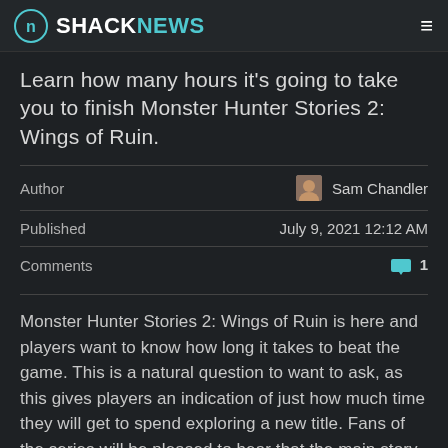SHACKNEWS
Learn how many hours it's going to take you to finish Monster Hunter Stories 2: Wings of Ruin.
| Author | Sam Chandler |
| Published | July 9, 2021 12:12 AM |
| Comments | 1 |
Monster Hunter Stories 2: Wings of Ruin is here and players want to know how long it takes to beat the game. This is a natural question to want to ask, as this gives players an indication of just how much time they will get to spend exploring a new title. Fans of the series will be pleased to hear that the main story of